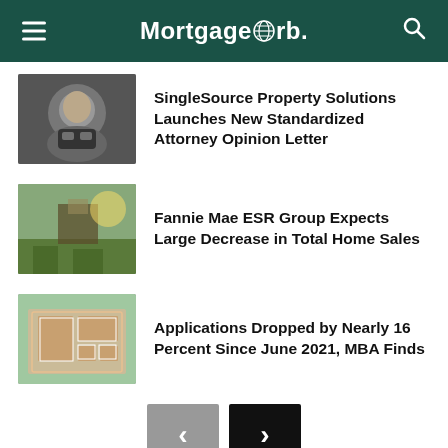MortgageOrb.
SingleSource Property Solutions Launches New Standardized Attorney Opinion Letter
Fannie Mae ESR Group Expects Large Decrease in Total Home Sales
Applications Dropped by Nearly 16 Percent Since June 2021, MBA Finds